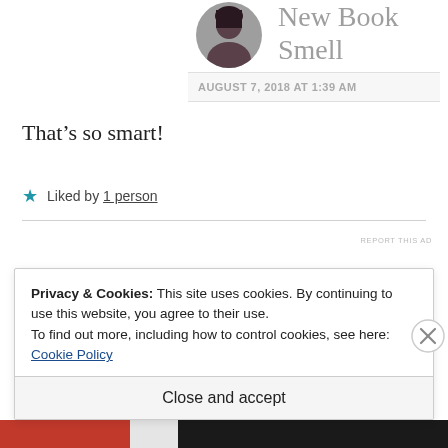[Figure (photo): Circular avatar photo of a person with dark hair, partially cropped at top]
New Book Smell
AUGUST 7, 2018 AT 1:39 AM
That's so smart!
★ Liked by 1 person
REPORT THIS AD
Privacy & Cookies: This site uses cookies. By continuing to use this website, you agree to their use.
To find out more, including how to control cookies, see here: Cookie Policy
Close and accept